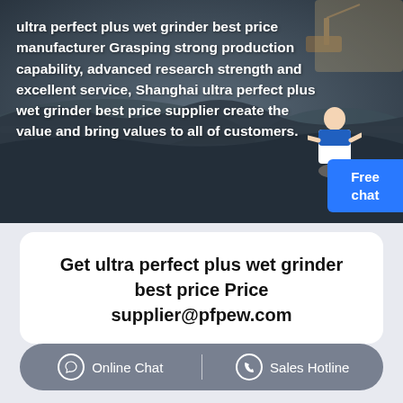[Figure (photo): Aerial view of an open-pit mining quarry with construction equipment, dark rocky terrain]
ultra perfect plus wet grinder best price manufacturer Grasping strong production capability, advanced research strength and excellent service, Shanghai ultra perfect plus wet grinder best price supplier create the value and bring values to all of customers.
Get ultra perfect plus wet grinder best price Price supplier@pfpew.com
Online Chat   Sales Hotline